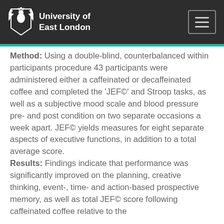University of East London
Method: Using a double-blind, counterbalanced within participants procedure 43 participants were administered either a caffeinated or decaffeinated coffee and completed the 'JEF©' and Stroop tasks, as well as a subjective mood scale and blood pressure pre- and post condition on two separate occasions a week apart. JEF© yields measures for eight separate aspects of executive functions, in addition to a total average score. Results: Findings indicate that performance was significantly improved on the planning, creative thinking, event-, time- and action-based prospective memory, as well as total JEF© score following caffeinated coffee relative to the